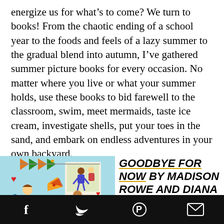energize us for what's to come? We turn to books! From the chaotic ending of a school year to the foods and feels of a lazy summer to the gradual blend into autumn, I've gathered summer picture books for every occasion. No matter where you live or what your summer holds, use these books to bid farewell to the classroom, swim, meet mermaids, taste ice cream, investigate shells, put your toes in the sand, and embark on endless adventures in your own backyard.
[Figure (illustration): Colorful children's book illustration with kids, pennant flags, pizza slice, hearts, and polaroid photo on a light blue background]
GOODBYE FOR NOW BY MADISON ROWE AND DIANA MCDERMOTT
Social sharing bar with Facebook, Twitter, Pinterest, and Email icons